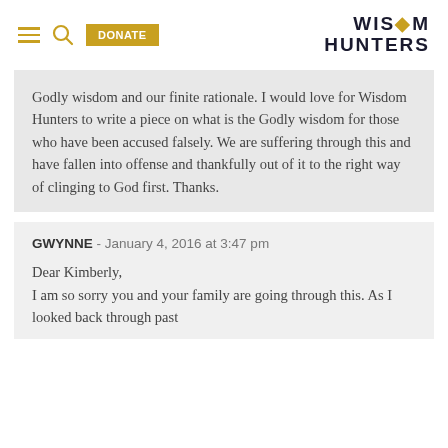WISDOM HUNTERS
Godly wisdom and our finite rationale. I would love for Wisdom Hunters to write a piece on what is the Godly wisdom for those who have been accused falsely. We are suffering through this and have fallen into offense and thankfully out of it to the right way of clinging to God first. Thanks.
GWYNNE - January 4, 2016 at 3:47 pm
Dear Kimberly,
I am so sorry you and your family are going through this. As I looked back through past